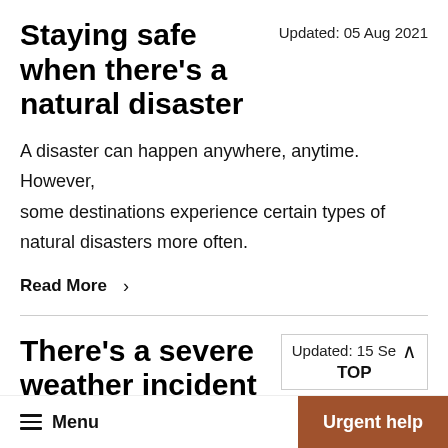Staying safe when there's a natural disaster
Updated: 05 Aug 2021
A disaster can happen anywhere, anytime. However, some destinations experience certain types of natural disasters more often.
Read More  >
There's a severe weather incident
Updated: 15 Se
What to do if you're travelling overseas and there's been a hurricane, tornado or other severe weather
Menu  |  Urgent help